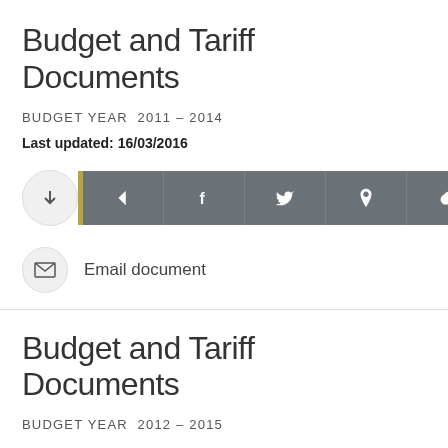Budget and Tariff Documents
BUDGET YEAR  2011 – 2014
Last updated: 16/03/2016
[Figure (infographic): Download button (circle with down arrow) followed by a dark grey share toolbar with icons: back arrow, Facebook (f), Twitter (bird), location pin, cloud]
Email document
Budget and Tariff Documents
BUDGET YEAR  2012 – 2015